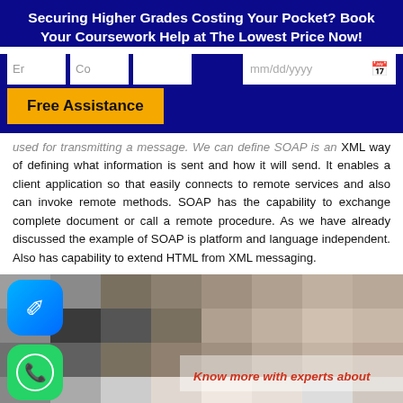Securing Higher Grades Costing Your Pocket? Book Your Coursework Help at The Lowest Price Now!
[Figure (screenshot): Web form with fields for email, country, blank input, and date picker, plus a yellow 'Free Assistance' button on dark blue background]
used for transmitting a message. We can define SOAP is an XML way of defining what information is sent and how it will send. It enables a client application so that easily connects to remote services and also can invoke remote methods. SOAP has the capability to exchange complete document or call a remote procedure. As we have already discussed the example of SOAP is platform and language independent. Also has capability to extend HTML from XML messaging.
[Figure (screenshot): Bottom image area with messenger and WhatsApp icons on left, blurred mosaic background, red italic text 'Know more with experts about' and partial large red text below]